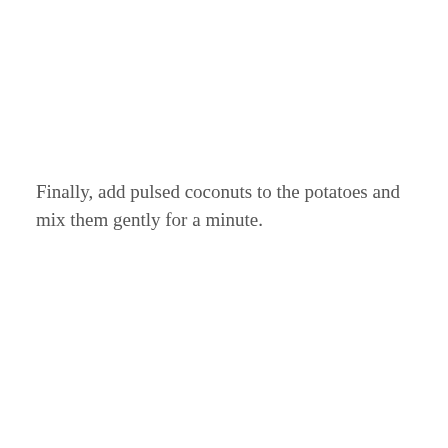Finally, add pulsed coconuts to the potatoes and mix them gently for a minute.